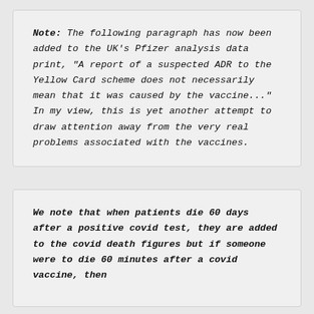Note: The following paragraph has now been added to the UK's Pfizer analysis data print, "A report of a suspected ADR to the Yellow Card scheme does not necessarily mean that it was caused by the vaccine..." In my view, this is yet another attempt to draw attention away from the very real problems associated with the vaccines.
We note that when patients die 60 days after a positive covid test, they are added to the covid death figures but if someone were to die 60 minutes after a covid vaccine, then